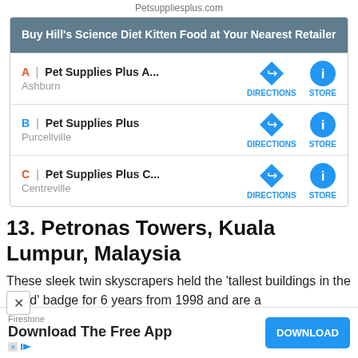Petsuppliesplus.com
[Figure (screenshot): Store finder widget showing 'Buy Hill's Science Diet Kitten Food at Your Nearest Retailer' with three Pet Supplies Plus store listings (A: Ashburn, B: Purcellville, C: Centreville) each with DIRECTIONS and STORE buttons]
13. Petronas Towers, Kuala Lumpur, Malaysia
These sleek twin skyscrapers held the 'tallest buildings in the world' badge for 6 years from 1998 and are a
[Figure (screenshot): Advertisement bar: Firestone - Download The Free App with a blue DOWNLOAD button]